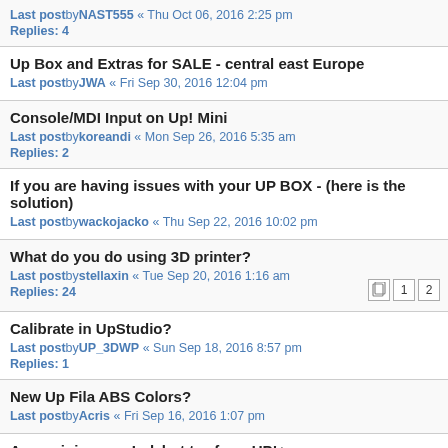Last postby NAST555 « Thu Oct 06, 2016 2:25 pm
Replies: 4
Up Box and Extras for SALE - central east Europe
Last postby JWA « Fri Sep 30, 2016 12:04 pm
Console/MDI Input on Up! Mini
Last postby koreandi « Mon Sep 26, 2016 5:35 am
Replies: 2
If you are having issues with your UP BOX - (here is the solution)
Last postby wackojacko « Thu Sep 22, 2016 10:02 pm
What do you do using 3D printer?
Last postby stellaxin « Tue Sep 20, 2016 1:16 am
Replies: 24
Calibrate in UpStudio?
Last postby UP_3DWP « Sun Sep 18, 2016 8:57 pm
Replies: 1
New Up Fila ABS Colors?
Last postby Acris « Fri Sep 16, 2016 1:07 pm
Any opinions on Lulzbot taz from UP!+ users
Last postby arhi « Thu Sep 15, 2016 9:30 am
Replies: 4
Nozzle problem UP2 Plus